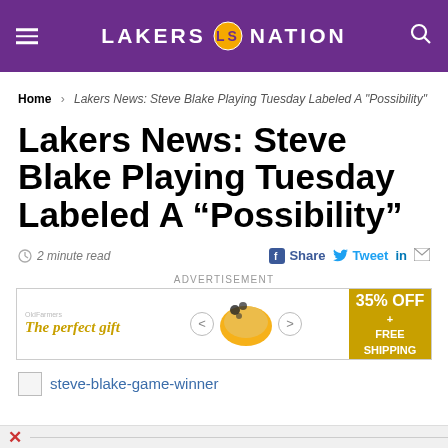LAKERS NATION
Home > Lakers News: Steve Blake Playing Tuesday Labeled A "Possibility"
Lakers News: Steve Blake Playing Tuesday Labeled A “Possibility”
2 minute read
[Figure (infographic): Advertisement banner: The perfect gift, 35% OFF + FREE SHIPPING]
ADVERTISEMENT
steve-blake-game-winner